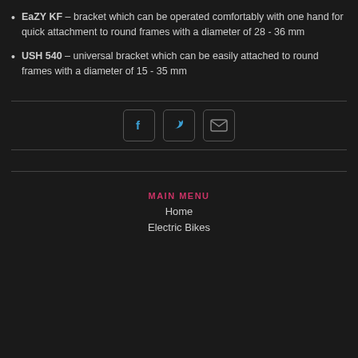EaZY KF – bracket which can be operated comfortably with one hand for quick attachment to round frames with a diameter of 28 - 36 mm
USH 540 – universal bracket which can be easily attached to round frames with a diameter of 15 - 35 mm
[Figure (infographic): Three social share buttons: Facebook (f icon), Twitter (bird icon), Email (envelope icon), each in a rounded square border]
MAIN MENU
Home
Electric Bikes